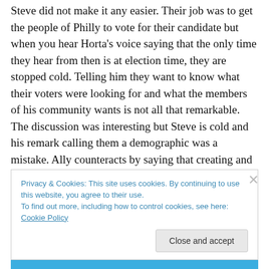Steve did not make it any easier. Their job was to get the people of Philly to vote for their candidate but when you hear Horta's voice saying that the only time they hear from then is at election time, they are stopped cold. Telling him they want to know what their voters were looking for and what the members of his community wants is not all that remarkable. The discussion was interesting but Steve is cold and his remark calling them a demographic was a mistake. Ally counteracts by saying that creating and reinforcing a sense of communal morality is one of the focuses she hopes they will bring to their voters.
Privacy & Cookies: This site uses cookies. By continuing to use this website, you agree to their use.
To find out more, including how to control cookies, see here: Cookie Policy
Close and accept